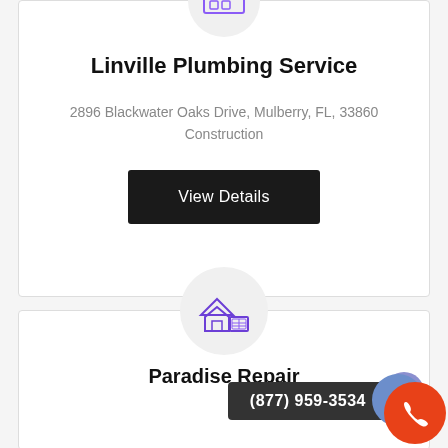[Figure (logo): Plumbing service icon in circle at top of card]
Linville Plumbing Service
2896 Blackwater Oaks Drive, Mulberry, FL, 33860
Construction
View Details
[Figure (logo): House/construction icon in circle at top of second card]
Paradise Repair
(877) 959-3534